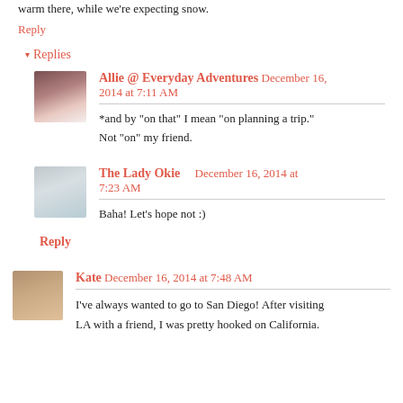warm there, while we're expecting snow.
Reply
▾ Replies
Allie @ Everyday Adventures December 16, 2014 at 7:11 AM
*and by "on that" I mean "on planning a trip." Not "on" my friend.
The Lady Okie  December 16, 2014 at 7:23 AM
Baha! Let's hope not :)
Reply
Kate December 16, 2014 at 7:48 AM
I've always wanted to go to San Diego! After visiting LA with a friend, I was pretty hooked on California.